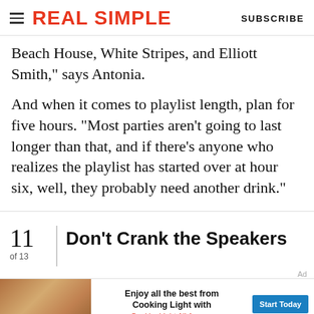REAL SIMPLE | SUBSCRIBE
Beach House, White Stripes, and Elliott Smith," says Antonia.
And when it comes to playlist length, plan for five hours. "Most parties aren't going to last longer than that, and if there's anyone who realizes the playlist has started over at hour six, well, they probably need another drink."
11 of 13 | Don't Crank the Speakers
[Figure (other): Advertisement banner for Cooking Light All Access — 'Enjoy all the best from Cooking Light with CookingLight All Access' with Start Today button]